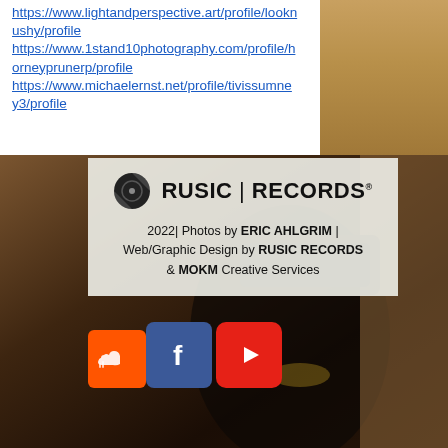https://www.lightandperspective.art/profile/looknushy/profile
https://www.1stand10photography.com/profile/horneyprunerp/profile
https://www.michaelernst.net/profile/tivissumney3/profile
[Figure (logo): Rusic Records logo with circular emblem and text RUSIC | RECORDS]
2022| Photos by ERIC AHLGRIM | Web/Graphic Design by RUSIC RECORDS & MOKM Creative Services
[Figure (photo): Background photo of person holding a dark object, with social media icons (SoundCloud, Facebook, YouTube) overlaid in the lower portion]